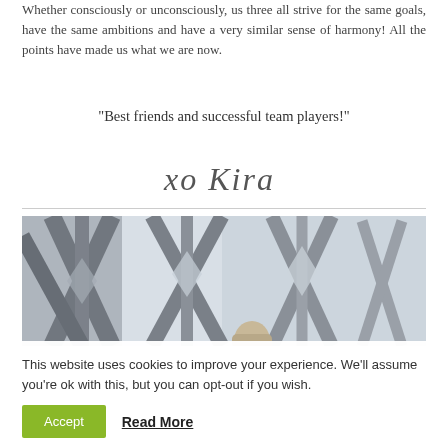Whether consciously or unconsciously, us three all strive for the same goals, have the same ambitions and have a very similar sense of harmony! All the points have made us what we are now.
“Best friends and successful team players!”
[Figure (illustration): Handwritten cursive signature reading 'xo Kira']
[Figure (photo): Photo of steel bridge structure girders with a person visible below, sky background]
This website uses cookies to improve your experience. We'll assume you're ok with this, but you can opt-out if you wish.